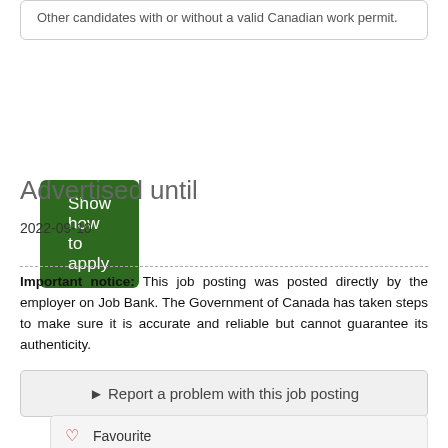Other candidates with or without a valid Canadian work permit.
Show how to apply
Advertised until
2022-09-10
Important notice: This job posting was posted directly by the employer on Job Bank. The Government of Canada has taken steps to make sure it is accurate and reliable but cannot guarantee its authenticity.
► Report a problem with this job posting
Favourite